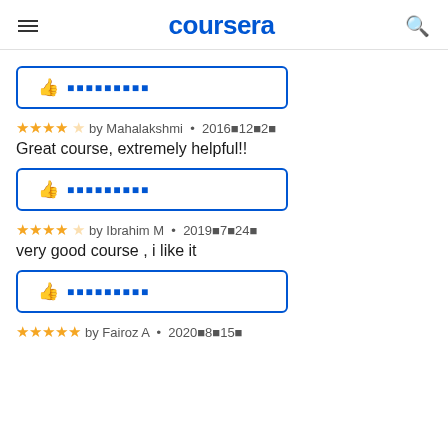coursera
[Figure (other): Thumbs up helpful button with blue border and placeholder text]
★★★★★ by Mahalakshmi • 2016年12月2日
Great course, extremely helpful!!
[Figure (other): Thumbs up helpful button with blue border and placeholder text]
★★★★★ by Ibrahim M • 2019年7月24日
very good course , i like it
[Figure (other): Thumbs up helpful button with blue border and placeholder text]
★★★★★ by Fairoz A • 2020年8月15日